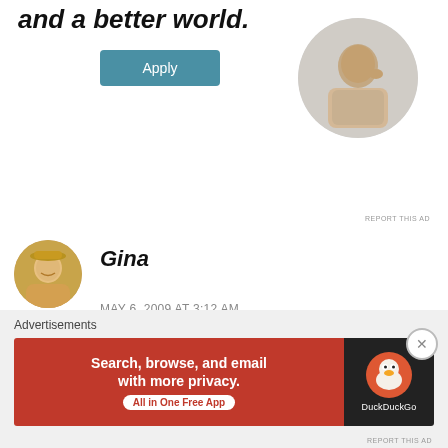and a better world.
[Figure (illustration): Blue 'Apply' button]
[Figure (photo): Circular photo of a man thinking, sitting at a desk]
REPORT THIS AD
[Figure (photo): Circular avatar of a smiling woman with a hat]
Gina
MAY 6, 2009 AT 3:12 AM
This is the website to USA cable. Please write and suggest that they pick up LIFE.
Select “Programming….” and another box will
Advertisements
[Figure (screenshot): DuckDuckGo advertisement banner: 'Search, browse, and email with more privacy. All in One Free App' on orange background with DuckDuckGo logo on dark background]
REPORT THIS AD